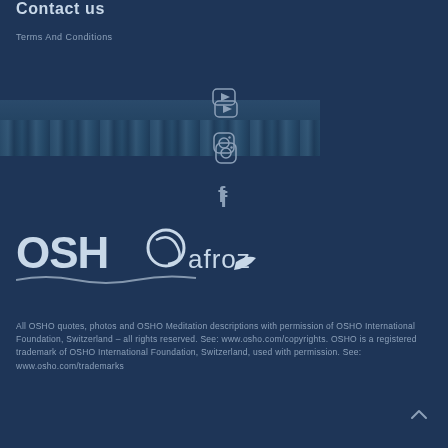Contact us
Terms And Conditions
[Figure (other): Social media icons: YouTube, Instagram, Facebook, and a landscape photo background]
[Figure (logo): OSHO afroz logo with swirl graphic and wave underline]
All OSHO quotes, photos and OSHO Meditation descriptions with permission of OSHO International Foundation, Switzerland – all rights reserved. See: www.osho.com/copyrights. OSHO is a registered trademark of OSHO International Foundation, Switzerland, used with permission. See: www.osho.com/trademarks